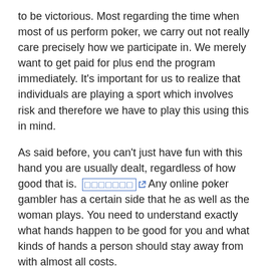to be victorious. Most regarding the time when most of us perform poker, we carry out not really care precisely how we participate in. We merely want to get paid for plus end the program immediately. It's important for us to realize that individuals are playing a sport which involves risk and therefore we have to play this using this in mind.
As said before, you can't just have fun with this hand you are usually dealt, regardless of how good that is. [link] Any online poker gambler has a certain side that he as well as the woman plays. You need to understand exactly what hands happen to be good for you and what kinds of hands a person should stay away from with almost all costs.
Bluffing is not really really bad in Texas hold em. If your hand is definitely really solid, it would certainly be better to stone cold bluff your own personal opponents. However, bluffing will only work if your own opponents need ideas what you are doing. If they will do know what you happen to be doing, they will absolutely know if you own a strong